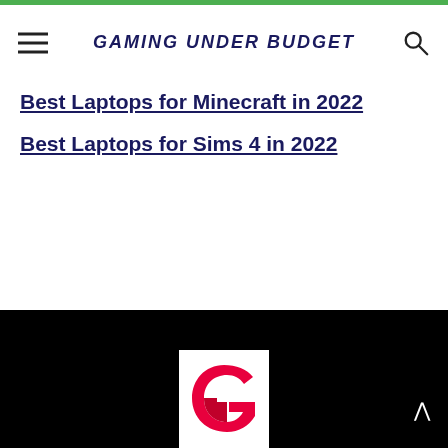GAMING UNDER BUDGET
Best Laptops for Minecraft in 2022
Best Laptops for Sims 4 in 2022
[Figure (logo): Gaming Under Budget logo — red stylized G letter on white square background]
GamingUnderBudget.com is a participant in the Amazon Services LLC Associates Program, an affiliate advertising program designed to provide a means for sites to earn advertising fees by advertising and linking to Amazon.com.